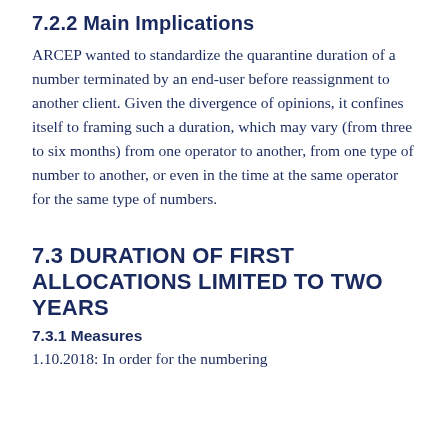7.2.2 Main Implications
ARCEP wanted to standardize the quarantine duration of a number terminated by an end-user before reassignment to another client. Given the divergence of opinions, it confines itself to framing such a duration, which may vary (from three to six months) from one operator to another, from one type of number to another, or even in the time at the same operator for the same type of numbers.
7.3 DURATION OF FIRST ALLOCATIONS LIMITED TO TWO YEARS
7.3.1 Measures
1.10.2018: In order for the numbering